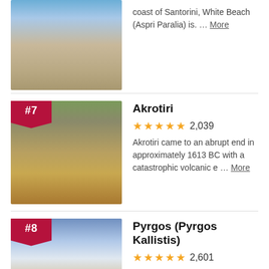[Figure (photo): Aerial view of a dark sandy beach with waves and two people walking, coast of Santorini]
coast of Santorini, White Beach (Aspri Paralia) is. … More
[Figure (photo): Ancient stone ruins with arched stone bridge and cave structures, Akrotiri, #7]
Akrotiri
★★★★★ 2,039
Akrotiri came to an abrupt end in approximately 1613 BC with a catastrophic volcanic e … More
[Figure (photo): White church with blue dome against dramatic cloudy sky, Pyrgos, #8]
Pyrgos (Pyrgos Kallistis)
★★★★★ 2,601
This picturesque hillside village is set on a volcanic crater at